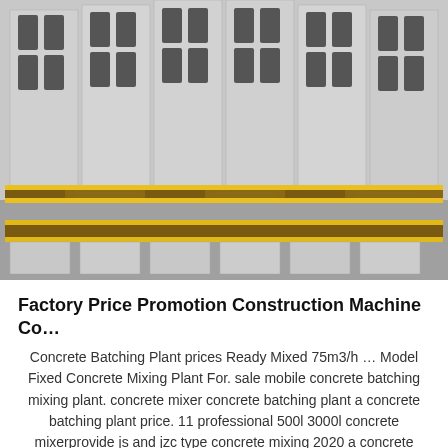[Figure (photo): Photograph of stacked concrete hollow blocks (CMU blocks) placed on yellow-edged wooden pallets, arranged in two rows. The blocks are grey with rectangular hollow cores visible from the top. The pallets have yellow painted edges.]
Factory Price Promotion Construction Machine Co…
Concrete Batching Plant prices Ready Mixed 75m3/h … Model Fixed Concrete Mixing Plant For. sale mobile concrete batching mixing plant. concrete mixer concrete batching plant a concrete batching plant price. 11 professional 500l 3000l concrete mixerprovide js and jzc type concrete mixing 2020 a concrete